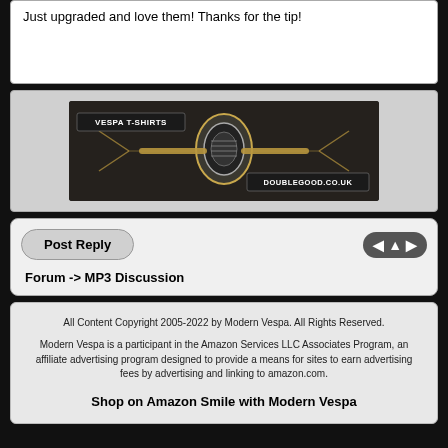Just upgraded and love them! Thanks for the tip!
[Figure (illustration): Vespa T-Shirts advertisement banner from doublegood.co.uk showing a stylized Vespa scooter front view in dark/gold tones]
Post Reply
Forum -> MP3 Discussion
All Content Copyright 2005-2022 by Modern Vespa. All Rights Reserved.
Modern Vespa is a participant in the Amazon Services LLC Associates Program, an affiliate advertising program designed to provide a means for sites to earn advertising fees by advertising and linking to amazon.com.
Shop on Amazon Smile with Modern Vespa